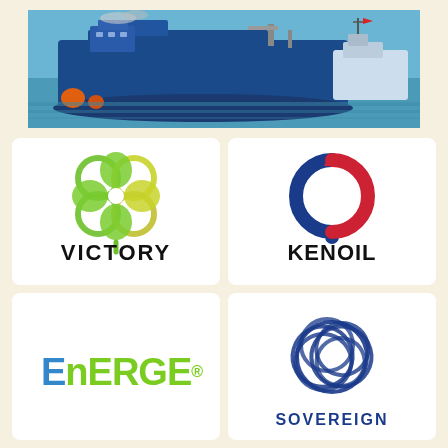[Figure (photo): Large blue cargo/tanker ship photographed at sea with blue water and another vessel visible in background]
[Figure (logo): Victory logo: four-leaf clover shape in green and yellow gradient, with text VICTORY in bold black below]
[Figure (logo): Kenoil logo: circular droplet shape in blue and red gradient, with text KENOIL in bold black below]
[Figure (logo): Energie logo: text ENERGIE in bold green and blue fonts with registered trademark symbol]
[Figure (logo): Sovereign logo: blue interlocking circular swirl/knot design, with text SOVEREIGN partially visible at bottom]